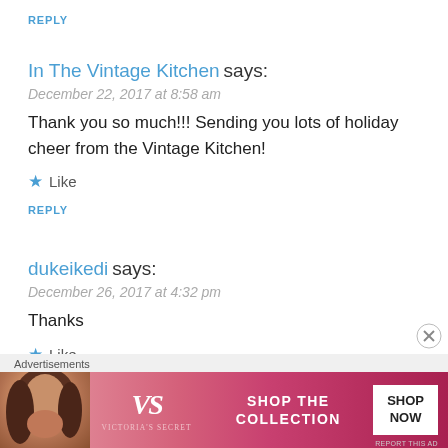REPLY
In The Vintage Kitchen says:
December 22, 2017 at 8:58 am
Thank you so much!!! Sending you lots of holiday cheer from the Vintage Kitchen!
★ Like
REPLY
dukeikedi says:
December 26, 2017 at 4:32 pm
Thanks
★ Like
[Figure (screenshot): Victoria's Secret advertisement banner with model, VS logo, 'SHOP THE COLLECTION' text, and 'SHOP NOW' button]
Advertisements